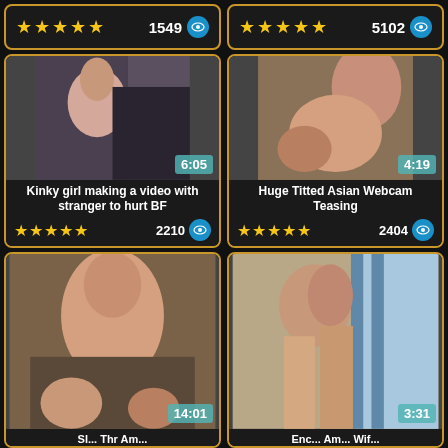[Figure (screenshot): Top-left partial video card showing stars rating and view count 1549]
[Figure (screenshot): Top-right partial video card showing stars rating and view count 5102]
[Figure (screenshot): Middle-left video thumbnail, duration 6:05, title: Kinky girl making a video with stranger to hurt BF, 2210 views, 5 stars]
[Figure (screenshot): Middle-right video thumbnail, duration 4:19, title: Huge Titted Asian Webcam Teasing, 2404 views, 5 stars]
[Figure (screenshot): Bottom-left video thumbnail, duration 14:01, partial title visible]
[Figure (screenshot): Bottom-right video thumbnail, duration 3:31, partial title visible]